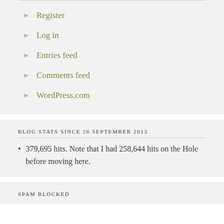Register
Log in
Entries feed
Comments feed
WordPress.com
BLOG STATS SINCE 26 SEPTEMBER 2013
379,695 hits. Note that I had 258,644 hits on the Hole before moving here.
SPAM BLOCKED